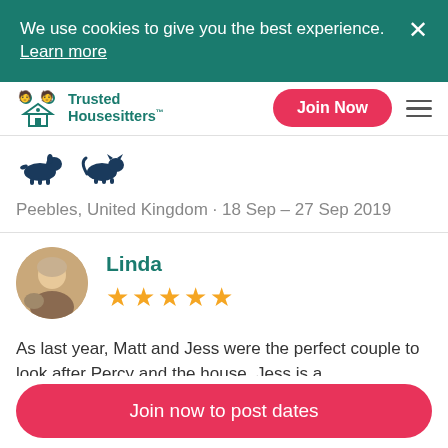We use cookies to give you the best experience. Learn more
[Figure (logo): Trusted Housesitters logo with teal icon and text]
[Figure (infographic): Dog and cat pet icons in dark teal]
Peebles, United Kingdom · 18 Sep – 27 Sep 2019
Linda
[Figure (other): 5 gold stars rating]
As last year, Matt and Jess were the perfect couple to look after Percy and the house. Jess is a
Join now to post dates